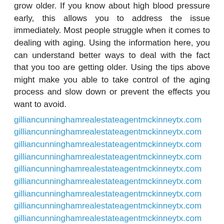grow older. If you know about high blood pressure early, this allows you to address the issue immediately. Most people struggle when it comes to dealing with aging. Using the information here, you can understand better ways to deal with the fact that you too are getting older. Using the tips above might make you able to take control of the aging process and slow down or prevent the effects you want to avoid.
gilliancunninghamrealestateagentmckinneytx.com
gilliancunninghamrealestateagentmckinneytx.com
gilliancunninghamrealestateagentmckinneytx.com
gilliancunninghamrealestateagentmckinneytx.com
gilliancunninghamrealestateagentmckinneytx.com
gilliancunninghamrealestateagentmckinneytx.com
gilliancunninghamrealestateagentmckinneytx.com
gilliancunninghamrealestateagentmckinneytx.com
gilliancunninghamrealestateagentmckinneytx.com
gilliancunninghamrealestateagentmckinneytx.com